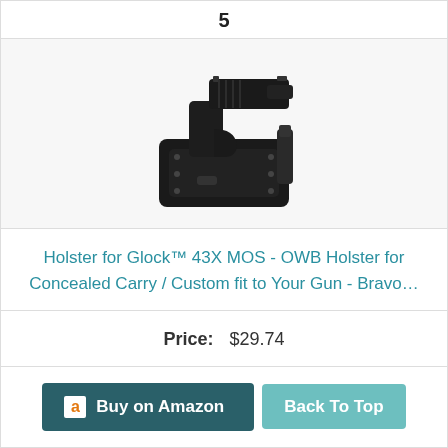5
[Figure (photo): Black OWB Kydex holster with a Glock pistol inserted, shown from the front.]
Holster for Glock™ 43X MOS - OWB Holster for Concealed Carry / Custom fit to Your Gun - Bravo…
Price: $29.74
Buy on Amazon
Back To Top